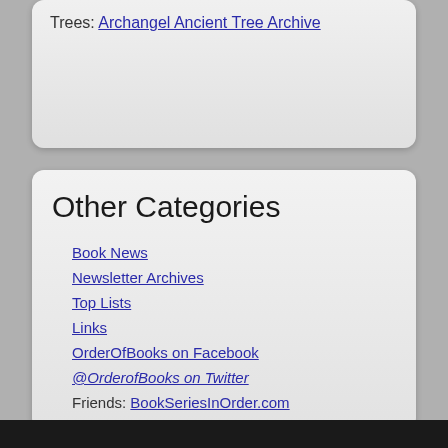Trees: Archangel Ancient Tree Archive
Other Categories
Book News
Newsletter Archives
Top Lists
Links
OrderOfBooks on Facebook
@OrderofBooks on Twitter
Friends: BookSeriesInOrder.com